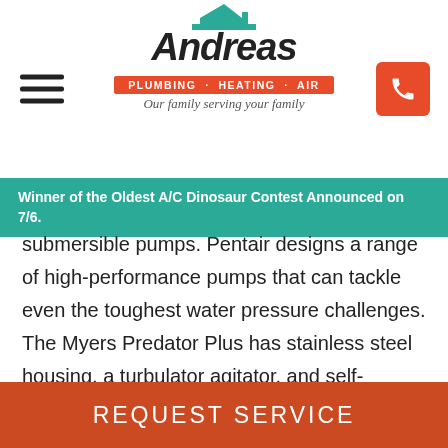Andreas Plumbing · Heating · Air — Our family serving your family
Winner of the Oldest A/C Dinosaur Contest Announced on 7/6.
submersible pumps. Pentair designs a range of high-performance pumps that can tackle even the toughest water pressure challenges. The Myers Predator Plus has stainless steel housing, a turbulator agitator, and self-lubricating impellers. With that technology, you can expect delicious, sediment-free drinking water. The product line relies on high-thrust motors because they offer a superb lifespan and incredible efficiency.
REQUEST SERVICE